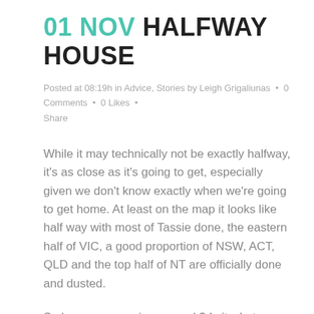01 NOV HALFWAY HOUSE
Posted at 08:19h in Advice, Stories by Leigh Grigaliunas • 0 Comments • 0 Likes • Share
While it may technically not be exactly halfway, it's as close as it's going to get, especially given we don't know exactly when we're going to get home. At least on the map it looks like half way with most of Tassie done, the eastern half of VIC, a good proportion of NSW, ACT, QLD and the top half of NT are officially done and dusted.
So how are we going you ask? Is it what we expected? Are we ready to come home? How